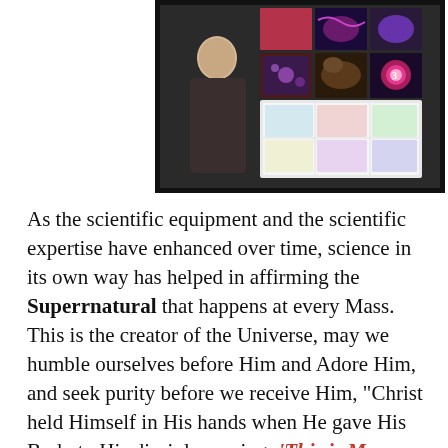[Figure (screenshot): A video screenshot showing an elderly man in a dark sweater standing in front of a large display board with a grid of scientific/biological images including what appear to be anatomical, cellular, and microscopic photographs.]
As the scientific equipment and the scientific expertise have enhanced over time, science in its own way has helped in affirming the Superrnatural that happens at every Mass.  This is the creator of the Universe, may we humble ourselves before Him and Adore Him, and seek purity before we receive Him, "Christ held Himself in His hands when He gave His Body to His disciples saying: 'This is My Body.' No one partakes of this Flesh before he has adored it."